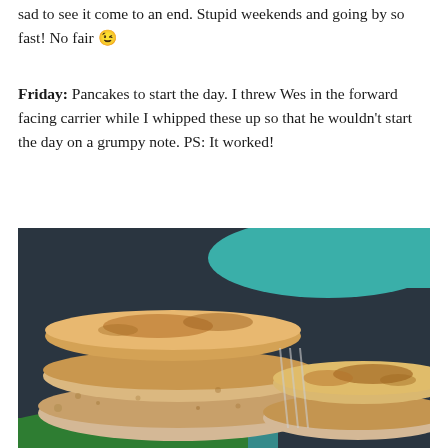sad to see it come to an end. Stupid weekends and going by so fast! No fair 😉
Friday: Pancakes to start the day. I threw Wes in the forward facing carrier while I whipped these up so that he wouldn't start the day on a grumpy note. PS: It worked!
[Figure (photo): A stack of golden-brown pancakes on a teal/green plate, photographed close-up from above at an angle. Two stacks of pancakes are visible, showing their fluffy interior and lightly browned tops.]